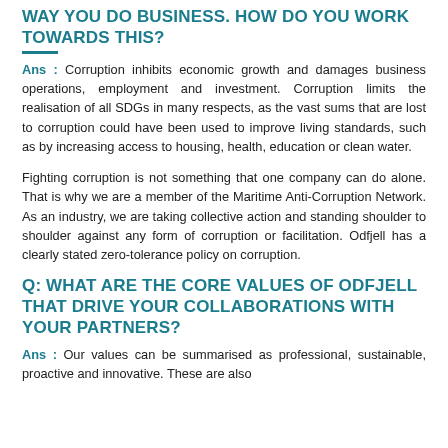WAY YOU DO BUSINESS. HOW DO YOU WORK TOWARDS THIS?
Ans : Corruption inhibits economic growth and damages business operations, employment and investment. Corruption limits the realisation of all SDGs in many respects, as the vast sums that are lost to corruption could have been used to improve living standards, such as by increasing access to housing, health, education or clean water.
Fighting corruption is not something that one company can do alone. That is why we are a member of the Maritime Anti-Corruption Network. As an industry, we are taking collective action and standing shoulder to shoulder against any form of corruption or facilitation. Odfjell has a clearly stated zero-tolerance policy on corruption.
Q: WHAT ARE THE CORE VALUES OF ODFJELL THAT DRIVE YOUR COLLABORATIONS WITH YOUR PARTNERS?
Ans : Our values can be summarised as professional, sustainable, proactive and innovative. These are also